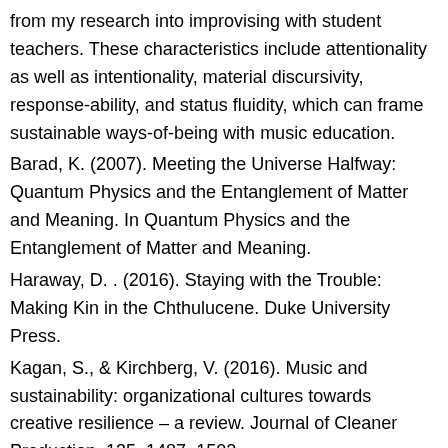from my research into improvising with student teachers. These characteristics include attentionality as well as intentionality, material discursivity, response-ability, and status fluidity, which can frame sustainable ways-of-being with music education.
Barad, K. (2007). Meeting the Universe Halfway: Quantum Physics and the Entanglement of Matter and Meaning. In Quantum Physics and the Entanglement of Matter and Meaning.
Haraway, D. . (2016). Staying with the Trouble: Making Kin in the Chthulucene. Duke University Press.
Kagan, S., & Kirchberg, V. (2016). Music and sustainability: organizational cultures towards creative resilience – a review. Journal of Cleaner Production, 135, 1487–1502.